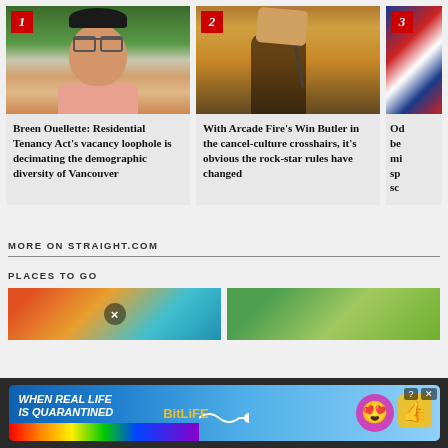[Figure (photo): Smiling man with glasses wearing a pink shirt, numbered card 1]
Breen Ouellette: Residential Tenancy Act's vacancy loophole is decimating the demographic diversity of Vancouver
[Figure (photo): Musician performing with microphone, warm stage lighting, numbered card 2]
With Arcade Fire's Win Butler in the cancel-culture crosshairs, it's obvious the rock-star rules have changed
[Figure (photo): British flag, numbered card 3 (partially visible)]
Od... be... mi... sp... sc... (partially visible)
MORE ON STRAIGHT.COM
PLACES TO GO
[Figure (photo): Colorful image with people, places section]
[Figure (photo): Outdoor green scenery, places section]
[Figure (screenshot): Advertisement: WHEN REAL LIFE IS QUARANTINED - BitLife game ad with rainbow graphic and emoji icons]